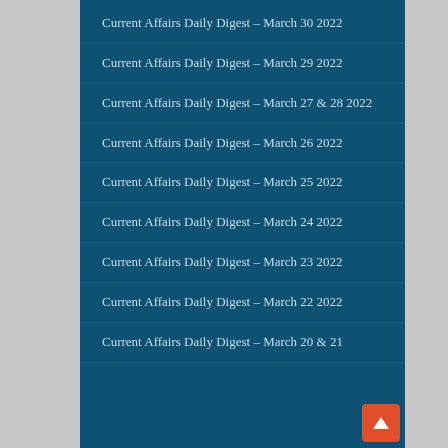Current Affairs Daily Digest – March 30 2022
Current Affairs Daily Digest – March 29 2022
Current Affairs Daily Digest – March 27 & 28 2022
Current Affairs Daily Digest – March 26 2022
Current Affairs Daily Digest – March 25 2022
Current Affairs Daily Digest – March 24 2022
Current Affairs Daily Digest – March 23 2022
Current Affairs Daily Digest – March 22 2022
Current Affairs Daily Digest – March 20 & 21